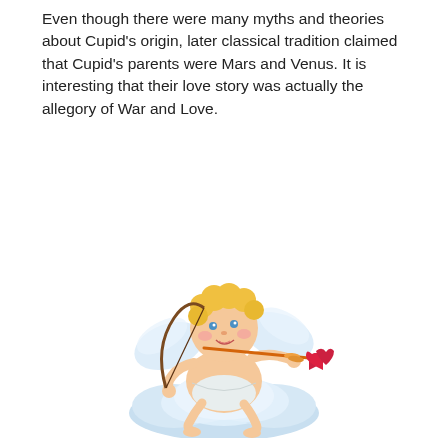Even though there were many myths and theories about Cupid's origin, later classical tradition claimed that Cupid's parents were Mars and Venus. It is interesting that their love story was actually the allegory of War and Love.
[Figure (illustration): Cartoon illustration of Cupid as a chubby baby angel with curly blonde hair and small white wings, sitting on a cloud, drawing a bow and arrow with a red heart-shaped arrowhead, aiming to the right.]